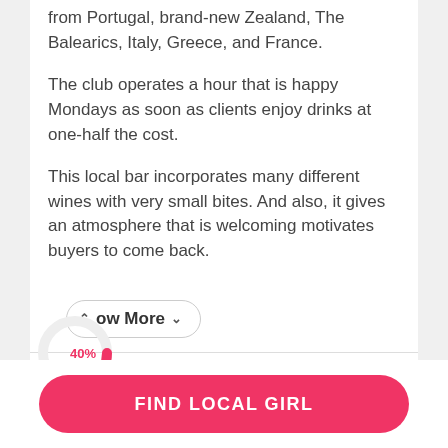from Portugal, brand-new Zealand, The Balearics, Italy, Greece, and France.
The club operates a hour that is happy Mondays as soon as clients enjoy drinks at one-half the cost.
This local bar incorporates many different wines with very small bites. And also, it gives an atmosphere that is welcoming motivates buyers to come back.
ow More
[Figure (donut-chart): Partial donut chart showing 40% in pink/red color]
ng: 3.9
Type: milf, adult
FIND LOCAL GIRL